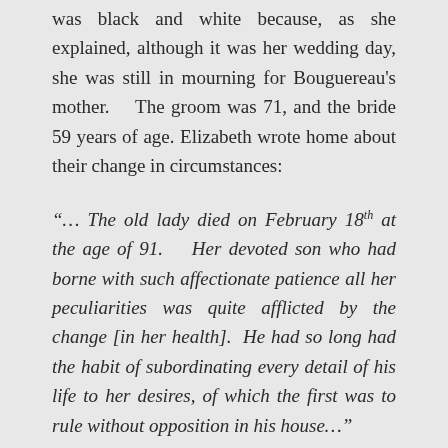was black and white because, as she explained, although it was her wedding day, she was still in mourning for Bouguereau's mother.   The groom was 71, and the bride 59 years of age.  Elizabeth wrote home about their change in circumstances:
“... The old lady died on February 18th at the age of 91.   Her devoted son who had borne with such affectionate patience all her peculiarities was quite afflicted by the change [in her health].  He had so long had the habit of subordinating every detail of his life to her desires, of which the first was to rule without opposition in his house...”
After marrying Bouguereau, Elizabeth almost